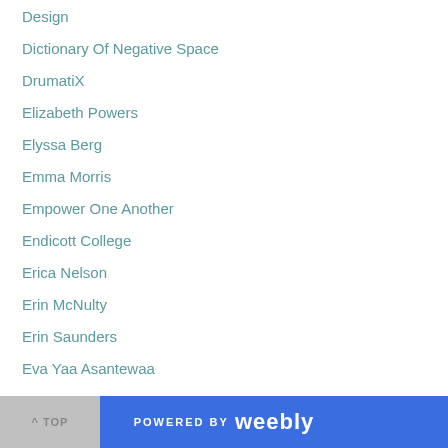Design
Dictionary Of Negative Space
DrumatiX
Elizabeth Powers
Elyssa Berg
Emma Morris
Empower One Another
Endicott College
Erica Nelson
Erin McNulty
Erin Saunders
Eva Yaa Asantewaa
Events
Evolve Dynamicz
Faneuil Hall
Felipe Galganni
Firk II
^ TOP   POWERED BY weebly